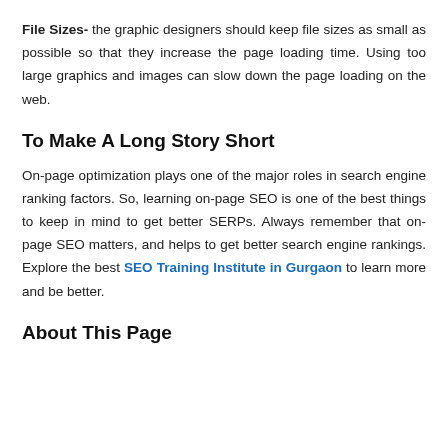File Sizes- the graphic designers should keep file sizes as small as possible so that they increase the page loading time. Using too large graphics and images can slow down the page loading on the web.
To Make A Long Story Short
On-page optimization plays one of the major roles in search engine ranking factors. So, learning on-page SEO is one of the best things to keep in mind to get better SERPs. Always remember that on-page SEO matters, and helps to get better search engine rankings. Explore the best SEO Training Institute in Gurgaon to learn more and be better.
About This Page